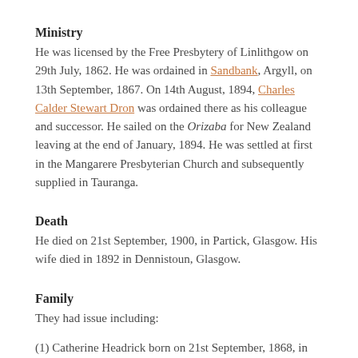Ministry
He was licensed by the Free Presbytery of Linlithgow on 29th July, 1862. He was ordained in Sandbank, Argyll, on 13th September, 1867. On 14th August, 1894, Charles Calder Stewart Dron was ordained there as his colleague and successor. He sailed on the Orizaba for New Zealand leaving at the end of January, 1894. He was settled at first in the Mangarere Presbyterian Church and subsequently supplied in Tauranga.
Death
He died on 21st September, 1900, in Partick, Glasgow. His wife died in 1892 in Dennistoun, Glasgow.
Family
They had issue including:
(1) Catherine Headrick born on 21st September, 1868, in Dunoon, Argyll. She married Robert Ferguson there in